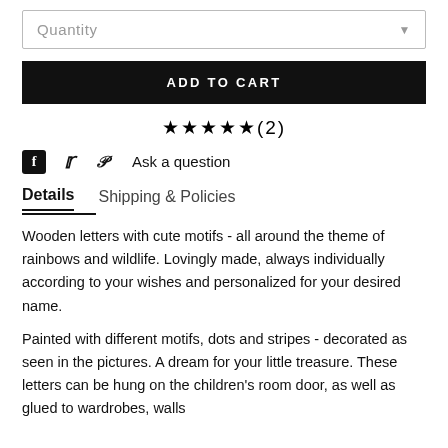[Figure (screenshot): Quantity dropdown selector with gray border and dropdown arrow]
[Figure (screenshot): Black ADD TO CART button]
★★★★★(2)
f  𝕋  𝕡  Ask a question
Details   Shipping & Policies
Wooden letters with cute motifs - all around the theme of rainbows and wildlife. Lovingly made, always individually according to your wishes and personalized for your desired name.
Painted with different motifs, dots and stripes - decorated as seen in the pictures. A dream for your little treasure. These letters can be hung on the children's room door, as well as glued to wardrobes, walls